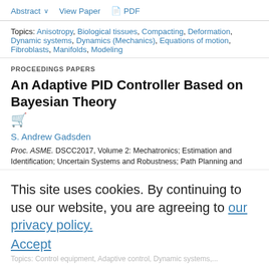Abstract  View Paper  PDF
Topics: Anisotropy, Biological tissues, Compacting, Deformation, Dynamic systems, Dynamics (Mechanics), Equations of motion, Fibroblasts, Manifolds, Modeling
PROCEEDINGS PAPERS
An Adaptive PID Controller Based on Bayesian Theory
S. Andrew Gadsden
Proc. ASME. DSCC2017, Volume 2: Mechatronics; Estimation and Identification; Uncertain Systems and Robustness; Path Planning and Motion Control; Tracking Control Systems; Multi-Agent and Networked Systems; Manufacturing; Intelligent Transportation and Vehicles; Sensors and Actuators; Diagnostics and Detection; Unmanned, Ground and Surface Robotics; Motion and Vibration Control Applications, V002T12A005, October 11–13, 2017
Paper No: DSCC2017-5340
This site uses cookies. By continuing to use our website, you are agreeing to our privacy policy. Accept
Topics: Control equipment, Adaptive control, Dynamic systems,...